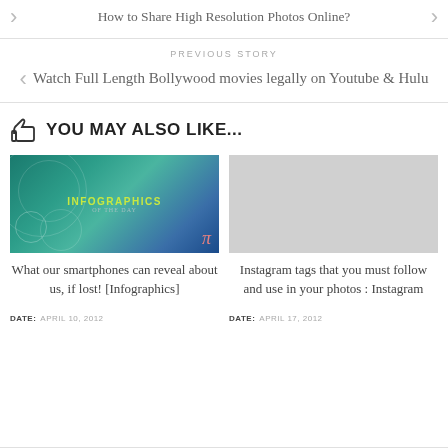How to Share High Resolution Photos Online?
PREVIOUS STORY
Watch Full Length Bollywood movies legally on Youtube & Hulu
YOU MAY ALSO LIKE...
[Figure (photo): Infographics of the day thumbnail image with teal/blue gradient background and pi symbol]
What our smartphones can reveal about us, if lost! [Infographics]
DATE: APRIL 10, 2012
[Figure (photo): Gray placeholder image thumbnail]
Instagram tags that you must follow and use in your photos : Instagram
DATE: APRIL 17, 2012